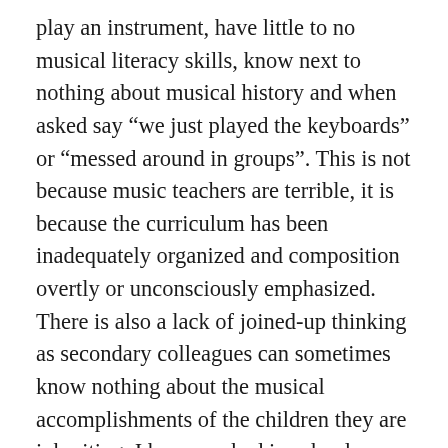play an instrument, have little to no musical literacy skills, know next to nothing about musical history and when asked say “we just played the keyboards” or “messed around in groups”. This is not because music teachers are terrible, it is because the curriculum has been inadequately organized and composition overtly or unconsciously emphasized. There is also a lack of joined-up thinking as secondary colleagues can sometimes know nothing about the musical accomplishments of the children they are inheriting. I have worked in schools where the secondary music teacher says “we start from scratch as they haven’t learned anything in primary”. There is also a lack of